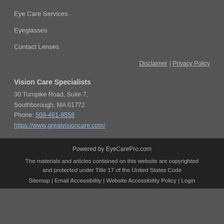Eye Care Services
Eyeglasses
Contact Lenses
Disclaimer | Privacy Policy
Vision Care Specialists
30 Turnpike Road, Suite 7,
Southborough, MA 01772
Phone: 508-481-8558
https://www.greatvisioncare.com/
Powered by EyeCarePro.com
The materials and articles contained on this website are copyrighted and protected under Title 17 of the United States Code
Sitemap | Email Accessibility | Website Accessibility Policy | Login